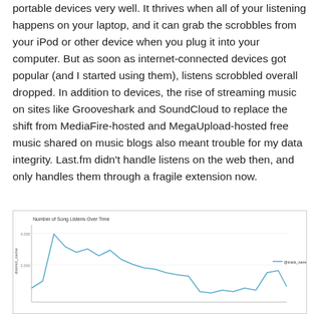portable devices very well. It thrives when all of your listening happens on your laptop, and it can grab the scrobbles from your iPod or other device when you plug it into your computer. But as soon as internet-connected devices got popular (and I started using them), listens scrobbled overall dropped. In addition to devices, the rise of streaming music on sites like Grooveshark and SoundCloud to replace the shift from MediaFire-hosted and MegaUpload-hosted free music shared on music blogs also meant trouble for my data integrity. Last.fm didn't handle listens on the web then, and only handles them through a fragile extension now.
[Figure (line-chart): Line chart showing number of song listens over time, with y-axis ranging from 0 to 4,000 and a legend entry for @track_name. The line shows a peak around 4,000 early on, then declining and fluctuating around 1,000-2,000, with a later smaller peak around 2,000.]